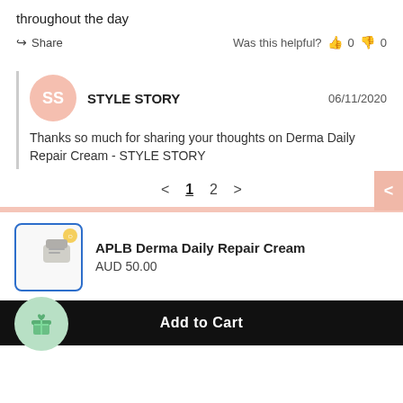throughout the day
Share   Was this helpful?  👍 0  👎 0
STYLE STORY   06/11/2020
Thanks so much for sharing your thoughts on Derma Daily Repair Cream - STYLE STORY
< 1 2 >
APLB Derma Daily Repair Cream
AUD 50.00
Add to Cart